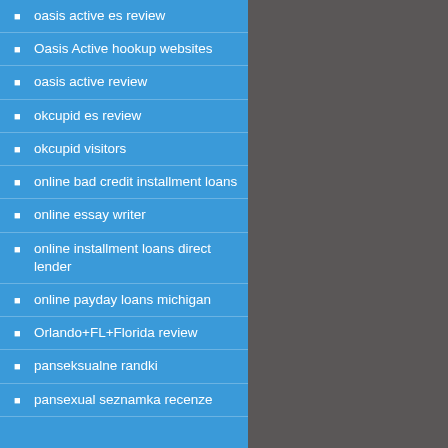oasis active es review
Oasis Active hookup websites
oasis active review
okcupid es review
okcupid visitors
online bad credit installment loans
online essay writer
online installment loans direct lender
online payday loans michigan
Orlando+FL+Florida review
panseksualne randki
pansexual seznamka recenze